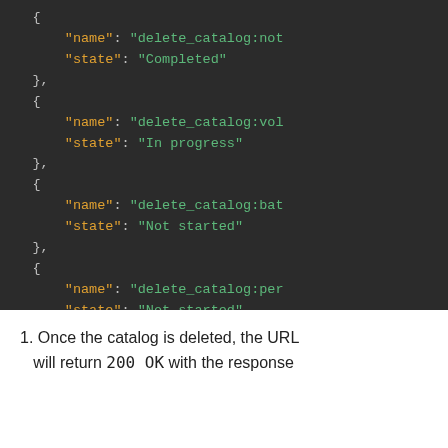[Figure (screenshot): Dark-themed code block showing JSON array elements with 'name' and 'state' key-value pairs. Four objects shown: delete_catalog:not... (Completed), delete_catalog:vol... (In progress), delete_catalog:bat... (Not started), delete_catalog:per... (Not started). Closing brackets at the end.]
1. Once the catalog is deleted, the URL will return 200 OK with the response